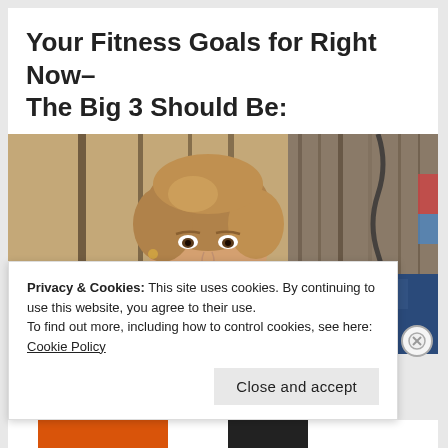Your Fitness Goals for Right Now– The Big 3 Should Be:
[Figure (photo): A smiling older woman with short blonde-brown hair seated in a restaurant booth with a navy blue upholstered seat back. Behind her is a decorative wall panel and to the right a rustic wooden door or wall. She is wearing a dark jacket with a floral-patterned sleeve.]
Privacy & Cookies: This site uses cookies. By continuing to use this website, you agree to their use.
To find out more, including how to control cookies, see here: Cookie Policy
Close and accept